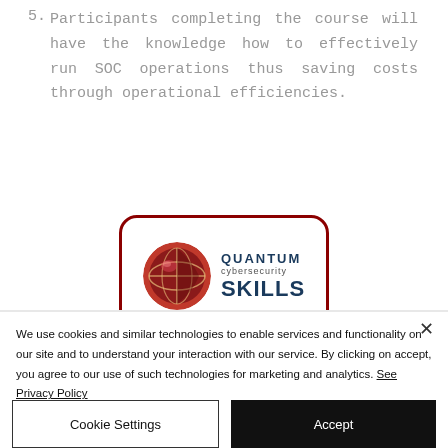5. Participants completing the course will have the knowledge how to effectively run SOC operations thus saving costs through operational efficiencies.
[Figure (logo): Quantum cybersecurity SKILLS logo inside a rounded rectangle with dark red border. Features a stylized brain/globe icon on the left and the text 'QUANTUM cybersecurity SKILLS' on the right.]
We use cookies and similar technologies to enable services and functionality on our site and to understand your interaction with our service. By clicking on accept, you agree to our use of such technologies for marketing and analytics. See Privacy Policy